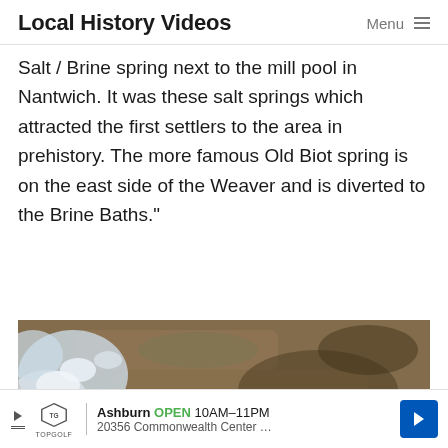Local History Videos   Menu ≡
Salt / Brine spring next to the mill pool in Nantwich. It was these salt springs which attracted the first settlers to the area in prehistory. The more famous Old Biot spring is on the east side of the Weaver and is diverted to the Brine Baths.”
[Figure (photo): Aerial or close-up photograph of a brine or salt spring, showing murky brownish water with white salt/mineral deposits and foam on the left side.]
Ashburn OPEN 10AM–11PM 20356 Commonwealth Center …